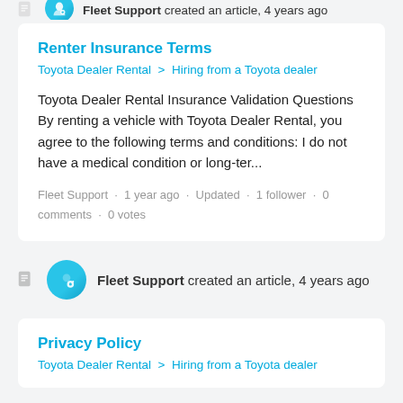Fleet Support created an article, 4 years ago
Renter Insurance Terms
Toyota Dealer Rental > Hiring from a Toyota dealer
Toyota Dealer Rental Insurance Validation Questions By renting a vehicle with Toyota Dealer Rental, you agree to the following terms and conditions: I do not have a medical condition or long-ter...
Fleet Support · 1 year ago · Updated · 1 follower · 0 comments · 0 votes
Fleet Support created an article, 4 years ago
Privacy Policy
Toyota Dealer Rental > Hiring from a Toyota dealer